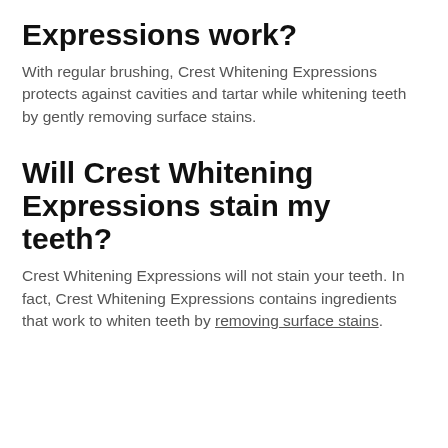Expressions work?
With regular brushing, Crest Whitening Expressions protects against cavities and tartar while whitening teeth by gently removing surface stains.
Will Crest Whitening Expressions stain my teeth?
Crest Whitening Expressions will not stain your teeth. In fact, Crest Whitening Expressions contains ingredients that work to whiten teeth by removing surface stains.